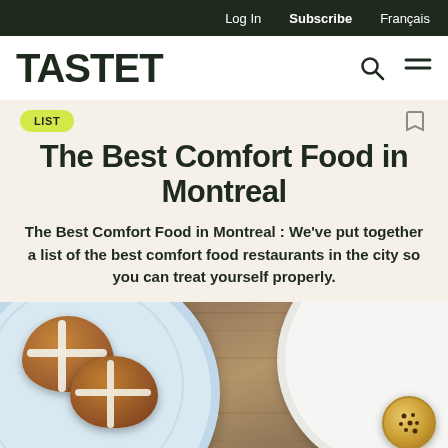Log In   Subscribe   Français
TASTET
LIST
The Best Comfort Food in Montreal
The Best Comfort Food in Montreal : We've put together a list of the best comfort food restaurants in the city so you can treat yourself properly.
[Figure (photo): Overhead photo of hot cross buns on a blue-rimmed plate on a wooden surface, with a white plate partially visible on the right side.]